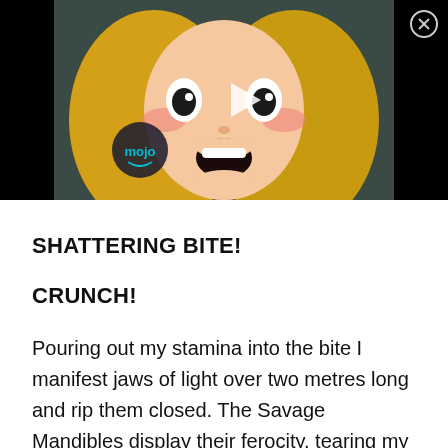[Figure (screenshot): Video thumbnail showing an anime character (blonde girl with wide open mouth and surprised expression) with a play button overlay, mojo logo in bottom left, and a close (X) button in the top right corner. Background is black.]
SHATTERING BITE!
CRUNCH!
Pouring out my stamina into the bite I manifest jaws of light over two metres long and rip them closed. The Savage Mandibles display their ferocity, tearing my enemies apart and crushing